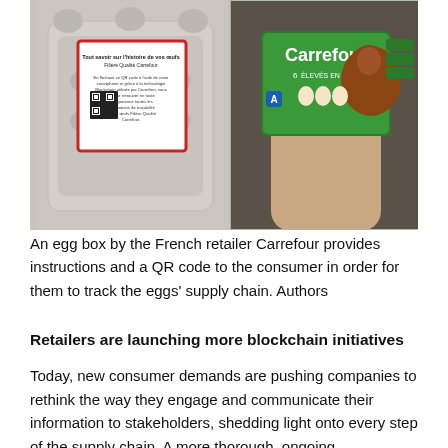[Figure (photo): Two photos side by side: left shows the inside of a cardboard egg carton with a red-bordered label containing text in French and a QR code; right shows a hand holding a Carrefour branded egg box (6 oeufs, plein air) with a green label and chicken image.]
An egg box by the French retailer Carrefour provides instructions and a QR code to the consumer in order for them to track the eggs' supply chain. Authors
Retailers are launching more blockchain initiatives
Today, new consumer demands are pushing companies to rethink the way they engage and communicate their information to stakeholders, shedding light onto every step of the supply chain. A more thorough, ongoing sustainability